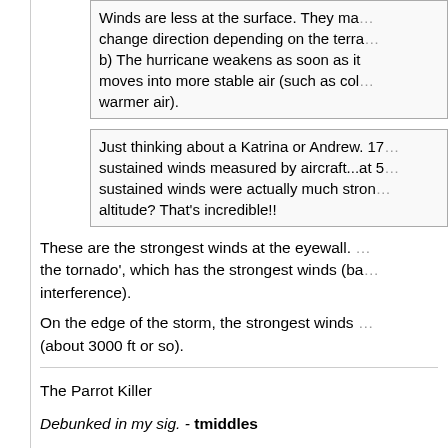Winds are less at the surface. They may change direction depending on the terrain. b) The hurricane weakens as soon as it moves into more stable air (such as colder or warmer air).
Just thinking about a Katrina or Andrew. 175 sustained winds measured by aircraft...at 5000 ft? sustained winds were actually much stronger at that altitude? That's incredible!!
These are the strongest winds at the eyewall. Unlike the tornado', which has the strongest winds (barring interference).
On the edge of the storm, the strongest winds are low (about 3000 ft or so).
The Parrot Killer
Debunked in my sig. - tmiddles
Google keeps track of paranoid talk and i'm not. I've been evaluated and certified. - keepit
nuclear powered ships do not require nuclear...